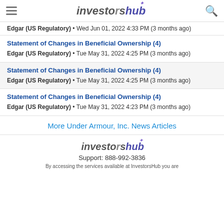investorshub
Edgar (US Regulatory) • Wed Jun 01, 2022 4:33 PM (3 months ago)
Statement of Changes in Beneficial Ownership (4)
Edgar (US Regulatory) • Tue May 31, 2022 4:25 PM (3 months ago)
Statement of Changes in Beneficial Ownership (4)
Edgar (US Regulatory) • Tue May 31, 2022 4:25 PM (3 months ago)
Statement of Changes in Beneficial Ownership (4)
Edgar (US Regulatory) • Tue May 31, 2022 4:23 PM (3 months ago)
More Under Armour, Inc. News Articles
investorshub
Support: 888-992-3836
By accessing the services available at InvestorsHub you are...